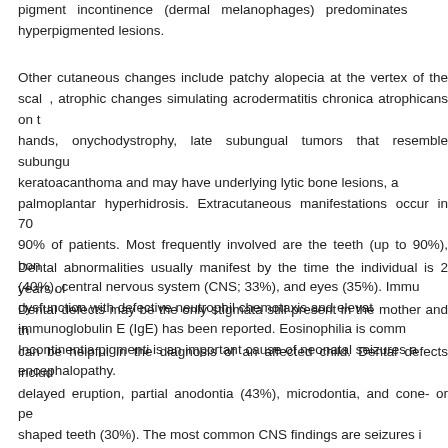pigment incontinence (dermal melanophages) predominates hyperpigmented lesions.
Other cutaneous changes include patchy alopecia at the vertex of the scalp, atrophic changes simulating acrodermatitis chronica atrophicans on the hands, onychodystrophy, late subungual tumors that resemble subungual keratoacanthoma and may have underlying lytic bone lesions, and palmoplantar hyperhidrosis. Extracutaneous manifestations occur in 70%-90% of patients. Most frequently involved are the teeth (up to 90%), bone (40%), central nervous system (CNS; 33%), and eyes (35%). Immune dysfunction with defective neutrophil chemotaxis and elevated immunoglobulin E (IgE) has been reported. Eosinophilia is common. Incontinentia pigmenti is an important cause of neonatal seizures and encephalopathy.
Dental abnormalities usually manifest by the time the individual is 2 years old. Dental defects may be the only stigmata still present in the mother and thus can be helpful in the diagnosis of an affected child. Dental defects include delayed eruption, partial anodontia (43%), microdontia, and cone- or peg-shaped teeth (30%). The most common CNS findings are seizures in approximately 10% followed by mental retardation, spastic paralysis, microcephaly, destructive encephalopathy, and motor impairment. The eye